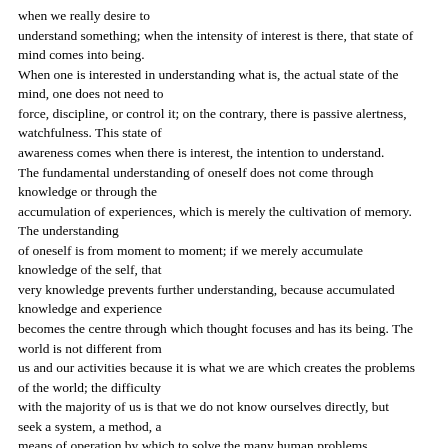when we really desire to understand something; when the intensity of interest is there, that state of mind comes into being. When one is interested in understanding what is, the actual state of the mind, one does not need to force, discipline, or control it; on the contrary, there is passive alertness, watchfulness. This state of awareness comes when there is interest, the intention to understand. The fundamental understanding of oneself does not come through knowledge or through the accumulation of experiences, which is merely the cultivation of memory. The understanding of oneself is from moment to moment; if we merely accumulate knowledge of the self, that very knowledge prevents further understanding, because accumulated knowledge and experience becomes the centre through which thought focuses and has its being. The world is not different from us and our activities because it is what we are which creates the problems of the world; the difficulty with the majority of us is that we do not know ourselves directly, but seek a system, a method, a means of operation by which to solve the many human problems. Now is there a means, a system, of knowing oneself? Any clever person, any philosopher, can invent a system, a method; but surely the following of a system will merely produce a result created by that